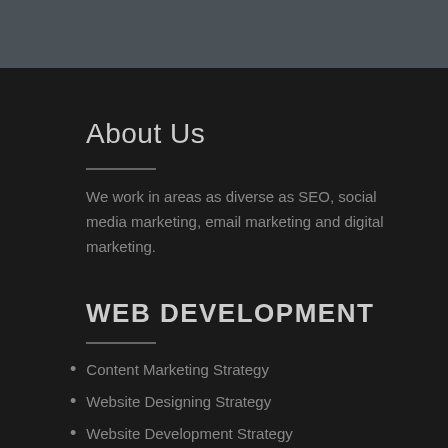About Us
We work in areas as diverse as SEO, social media marketing, email marketing and digital marketing.
WEB DEVELOPMENT
Content Marketing Strategy
Website Designing Strategy
Website Development Strategy